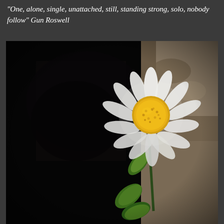"One, alone, single, unattached, still, standing strong, solo, nobody follow" Gun Roswell
[Figure (photo): A single white daisy flower with a yellow center, photographed against a dark shadowy background with rocky/sandy ground. The flower is lit from above-right, with green leaves visible on the stem below. High contrast, dramatic lighting with deep blacks and bright whites.]